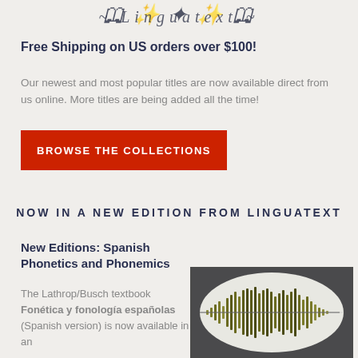[Figure (illustration): Decorative script/calligraphic header text in dark navy on light background]
Free Shipping on US orders over $100!
Our newest and most popular titles are now available direct from us online. More titles are being added all the time!
BROWSE THE COLLECTIONS
NOW IN A NEW EDITION FROM LINGUATEXT
New Editions: Spanish Phonetics and Phonemics
The Lathrop/Busch textbook Fonética y fonología españolas (Spanish version) is now available in an
[Figure (photo): An oval white plate on a dark background with a green/olive sound waveform pattern running across it horizontally]